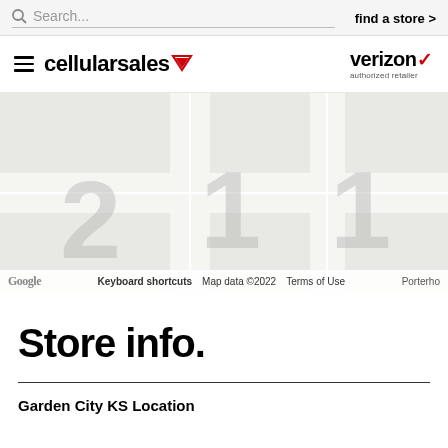Search... | find a store >
[Figure (logo): Cellular Sales logo with hamburger menu and Verizon authorized retailer logo]
[Figure (map): Google Maps screenshot showing store location area, with Keyboard shortcuts, Map data ©2022, Terms of Use, and Porterho label visible]
Store info.
Garden City KS Location